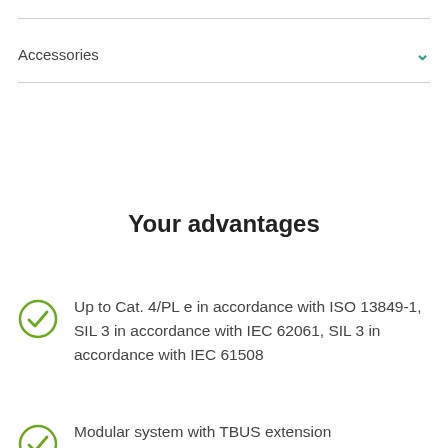Accessories
Your advantages
Up to Cat. 4/PL e in accordance with ISO 13849-1, SIL 3 in accordance with IEC 62061, SIL 3 in accordance with IEC 61508
Modular system with TBUS extension